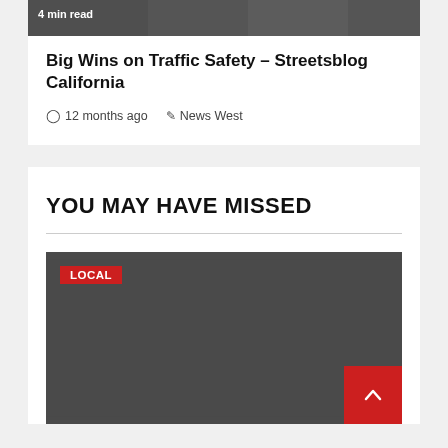[Figure (photo): Partial image of bicycles/traffic, dark tones, with '4 min read' label overlay at top]
Big Wins on Traffic Safety – Streetsblog California
12 months ago   News West
YOU MAY HAVE MISSED
[Figure (photo): Dark gray placeholder image with LOCAL badge in red at top left and a red scroll-to-top button at bottom right]